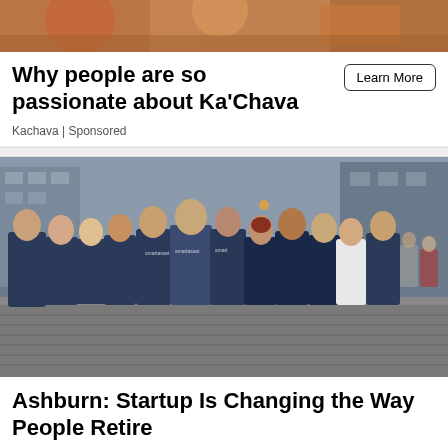[Figure (photo): Partial image at top of page, showing warm brown/orange tones, appears to be a cropped food or product photo related to Ka'Chava]
Why people are so passionate about Ka'Chava
Kachava | Sponsored
Learn More
[Figure (photo): Group photo of approximately 12 people wearing matching dark blue 'SmartAsset' branded t-shirts, standing on a cobblestone street in an urban setting (New York City). The group includes men and women of diverse backgrounds.]
Ashburn: Startup Is Changing the Way People Retire